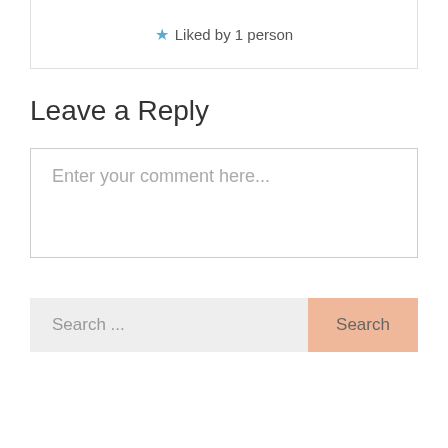Liked by 1 person
Leave a Reply
Enter your comment here...
Search ...
Search